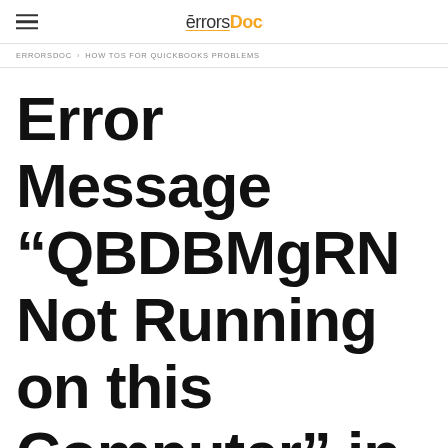errorsDoc
ERRORSDOC > HOW TOS FOR QUICKBOOKS PROBLEMS
Error Message “QBDBMgRN Not Running on this Computer” in QuickBooks Fixed